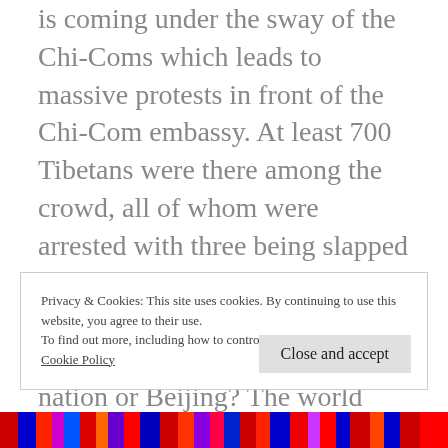is coming under the sway of the Chi-Coms which leads to massive protests in front of the Chi-Com embassy. At least 700 Tibetans were there among the crowd, all of whom were arrested with three being slapped with charges of ‘anti-Chi-Com activities.’ Folks, who runs Nepal? The government of that nation or Beijing? The world knows the answer.
Privacy & Cookies: This site uses cookies. By continuing to use this website, you agree to their use.
To find out more, including how to control cookies, see here: Cookie Policy
[Figure (photo): Colorful strip image at bottom of page with red, blue, and purple tones]